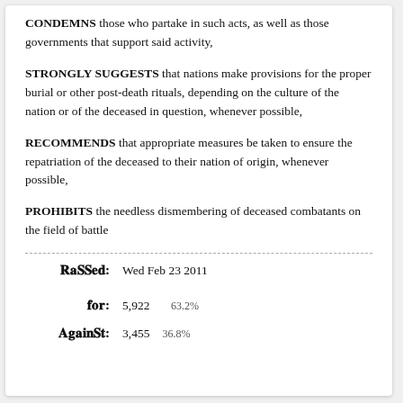CONDEMNS those who partake in such acts, as well as those governments that support said activity,
STRONGLY SUGGESTS that nations make provisions for the proper burial or other post-death rituals, depending on the culture of the nation or of the deceased in question, whenever possible,
RECOMMENDS that appropriate measures be taken to ensure the repatriation of the deceased to their nation of origin, whenever possible,
PROHIBITS the needless dismembering of deceased combatants on the field of battle
Passed: Wed Feb 23 2011
For: 5,922  63.2%
Against: 3,455  36.8%